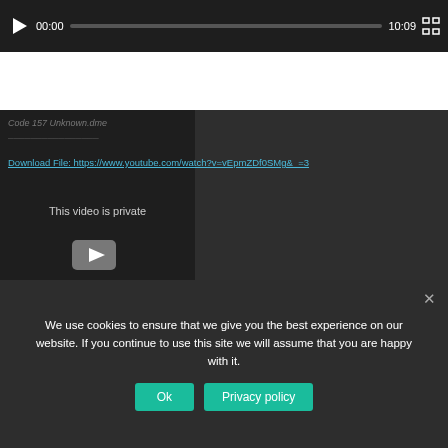[Figure (screenshot): Video player control bar showing play button, timestamp 00:00, progress bar, duration 10:09, and fullscreen button on dark background]
[Figure (screenshot): YouTube embedded video panel with dark background, italic title text, download link, 'This video is private' message, and YouTube play button icon]
Download File: https://www.youtube.com/watch?v=vEpmZDf0SMg&_=3
This video is private
We use cookies to ensure that we give you the best experience on our website. If you continue to use this site we will assume that you are happy with it.